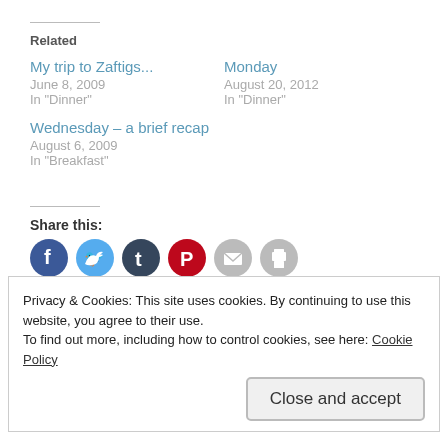Related
My trip to Zaftigs...
June 8, 2009
In "Dinner"
Monday
August 20, 2012
In "Dinner"
Wednesday – a brief recap
August 6, 2009
In "Breakfast"
Share this:
[Figure (infographic): Social sharing icons: Facebook (blue), Twitter (light blue), Tumblr (dark blue), Pinterest (red), Email (gray), Print (gray)]
Privacy & Cookies: This site uses cookies. By continuing to use this website, you agree to their use.
To find out more, including how to control cookies, see here: Cookie Policy
Close and accept